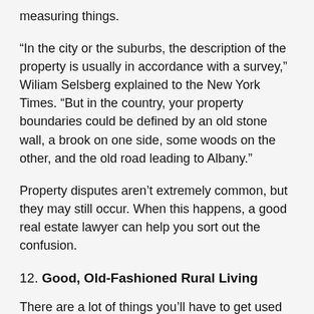measuring things.
“In the city or the suburbs, the description of the property is usually in accordance with a survey,” Wiliam Selsberg explained to the New York Times. “But in the country, your property boundaries could be defined by an old stone wall, a brook on one side, some woods on the other, and the old road leading to Albany.”
Property disputes aren’t extremely common, but they may still occur. When this happens, a good real estate lawyer can help you sort out the confusion.
12. Good, Old-Fashioned Rural Living
There are a lot of things you’ll have to get used to with rural living. The smells, the distance from amenities, natural predators, neighboring livestock, water sources, health risks, and more. Be prepared for some lifestyle changes.